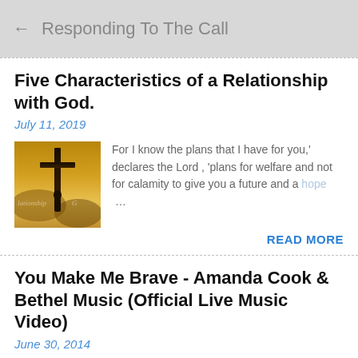← Responding To The Call
Five Characteristics of a Relationship with God.
July 11, 2019
[Figure (photo): Cross silhouette with golden sky background, with watermark text 'lationship with G']
For I know the plans that I have for you,' declares the Lord , 'plans for welfare and not for calamity to give you a future and a hope …
READ MORE
You Make Me Brave - Amanda Cook & Bethel Music (Official Live Music Video)
June 30, 2014